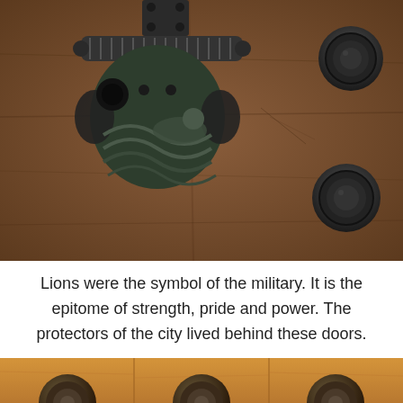[Figure (photo): Close-up photograph of an ornate dark metal lion-head door knocker on a dark wooden door with large round metal studs/bolts on the right side. The knocker features a decorative figure and wavy design elements.]
Lions were the symbol of the military. It is the epitome of strength, pride and power. The protectors of the city lived behind these doors.
[Figure (photo): Partial photograph of a lighter colored wooden door with three large ornate round spiral metal studs/bolts visible along the bottom, showing vertical wood planks.]